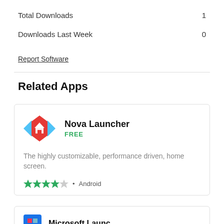Total Downloads    1
Downloads Last Week    0
Report Software
Related Apps
[Figure (other): Nova Launcher app card with icon, FREE price, description text, star rating (4/5), and Android platform tag]
[Figure (other): Partially visible app card at bottom with blue icon and app name starting with 'Microsoft']